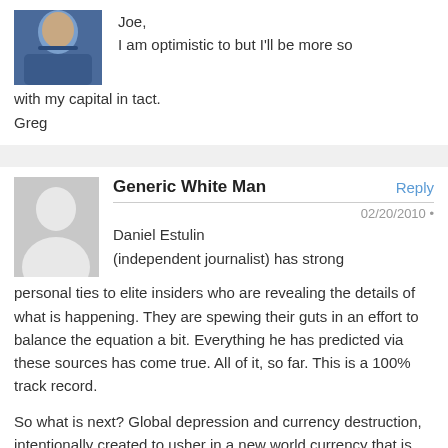Joe,
I am optimistic to but I'll be more so with my capital in tact.
Greg
Generic White Man
02/20/2010
Daniel Estulin (independent journalist) has strong personal ties to elite insiders who are revealing the details of what is happening. They are spewing their guts in an effort to balance the equation a bit. Everything he has predicted via these sources has come true. All of it, so far. This is a 100% track record.

So what is next? Global depression and currency destruction, intentionally created to usher in a new world currency that is tied to carbon credits. Further regionalization of world government (which includes the EU). World socialism/communism governed by